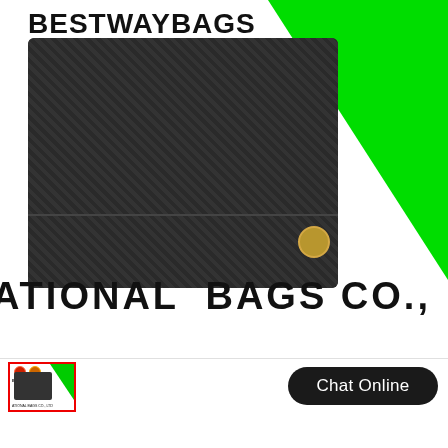[Figure (photo): Product page screenshot showing a black saffiano leather wallet/clutch on white background with green decorative triangle element. Brand name BESTWAYBAGS at top left. Company name ATIONAL BAGS CO., LTD at bottom in large bold text. Bottom bar with thumbnail image and Chat Online button.]
BESTWAYBAGS
ATIONAL BAGS CO.,   LTD
Chat Online